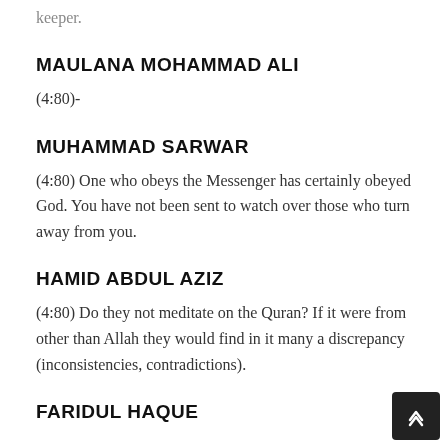keeper.
MAULANA MOHAMMAD ALI
(4:80)-
MUHAMMAD SARWAR
(4:80) One who obeys the Messenger has certainly obeyed God. You have not been sent to watch over those who turn away from you.
HAMID ABDUL AZIZ
(4:80) Do they not meditate on the Quran? If it were from other than Allah they would find in it many a discrepancy (inconsistencies, contradictions).
FARIDUL HAQUE